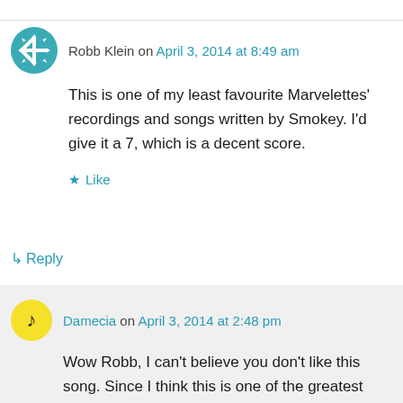Robb Klein on April 3, 2014 at 8:49 am
This is one of my least favourite Marvelettes' recordings and songs written by Smokey. I'd give it a 7, which is a decent score.
Like
↳ Reply
Damecia on April 3, 2014 at 2:48 pm
Wow Robb, I can't believe you don't like this song. Since I think this is one of the greatest songs ever recorded, lol, this is hard to take. Would you mind elaborating